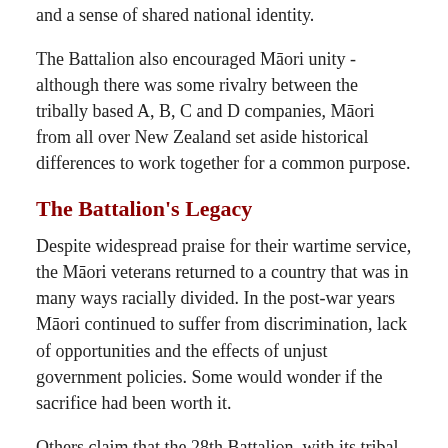and a sense of shared national identity.
The Battalion also encouraged Māori unity - although there was some rivalry between the tribally based A, B, C and D companies, Māori from all over New Zealand set aside historical differences to work together for a common purpose.
The Battalion's Legacy
Despite widespread praise for their wartime service, the Māori veterans returned to a country that was in many ways racially divided. In the post-war years Māori continued to suffer from discrimination, lack of opportunities and the effects of unjust government policies. Some would wonder if the sacrifice had been worth it.
Others claim that the 28th Battalion, with its tribal structure and emphasis on the value of Māoritanga, helped lay the foundations for the Māori cultural and economic renaissance of recent times. As Apirana's son Henare Ngata, an officer in the Māori Battalion, later reflected: